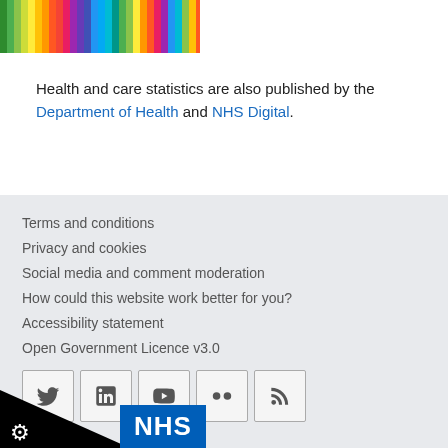[Figure (photo): Colored pencils/crayons arranged vertically, showing a spectrum of colors]
Health and care statistics are also published by the Department of Health and NHS Digital.
Terms and conditions
Privacy and cookies
Social media and comment moderation
How could this website work better for you?
Accessibility statement
Open Government Licence v3.0
[Figure (infographic): Social media icons: Twitter, LinkedIn, YouTube, Flickr, RSS feed]
[Figure (logo): ONS and NHS logos at bottom]